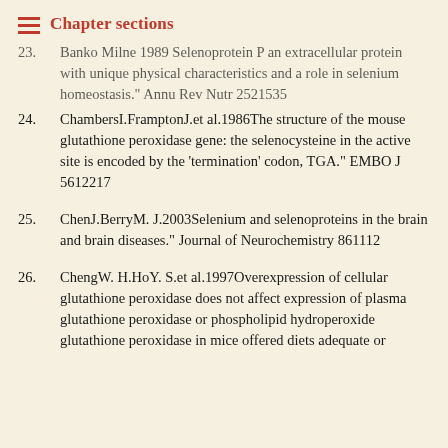Chapter sections
23. Banko Milne 1989 Selenoprotein P an extracellular protein with unique physical characteristics and a role in selenium homeostasis." Annu Rev Nutr 2521535
24. ChambersI.FramptonJ.et al.1986The structure of the mouse glutathione peroxidase gene: the selenocysteine in the active site is encoded by the 'termination' codon, TGA." EMBO J 5612217
25. ChenJ.BerryM. J.2003Selenium and selenoproteins in the brain and brain diseases." Journal of Neurochemistry 861112
26. ChengW. H.HoY. S.et al.1997Overexpression of cellular glutathione peroxidase does not affect expression of plasma glutathione peroxidase or phospholipid hydroperoxide glutathione peroxidase in mice offered diets adequate or